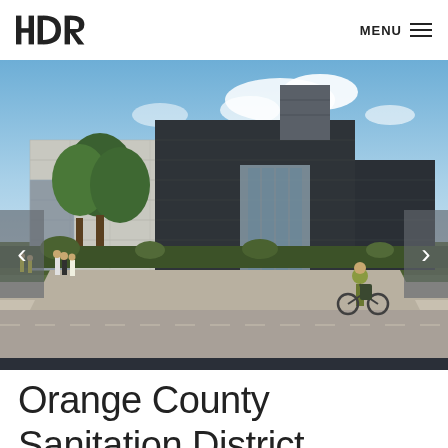HDR | MENU
[Figure (photo): Architectural rendering of a modern building complex with concrete and dark metal cladding, glass facades, trees, landscaping, pedestrians, and a cyclist in the foreground under a partly cloudy sky.]
Orange County Sanitation District Headquarters Complex